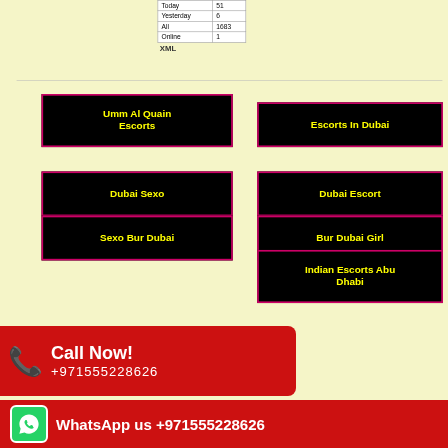| Today | 51 |
| Yesterday | 6 |
| All | 1683 |
| Online | 1 |
XML
Umm Al Quain Escorts
Escorts In Dubai
Dubai Sexo
Dubai Escort
Sexo Bur Dubai
Bur Dubai Girl
Indian Escorts Abu Dhabi
Call Now! +971555228626
WhatsApp us +971555228626